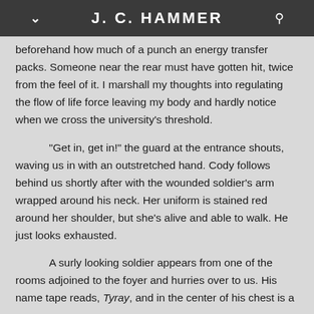J. C. HAMMER
beforehand how much of a punch an energy transfer packs. Someone near the rear must have gotten hit, twice from the feel of it. I marshall my thoughts into regulating the flow of life force leaving my body and hardly notice when we cross the university's threshold.
“Get in, get in!” the guard at the entrance shouts, waving us in with an outstretched hand. Cody follows behind us shortly after with the wounded soldier’s arm wrapped around his neck. Her uniform is stained red around her shoulder, but she’s alive and able to walk. He just looks exhausted.
A surly looking soldier appears from one of the rooms adjoined to the foyer and hurries over to us. His name tape reads, Tyray, and in the center of his chest is a